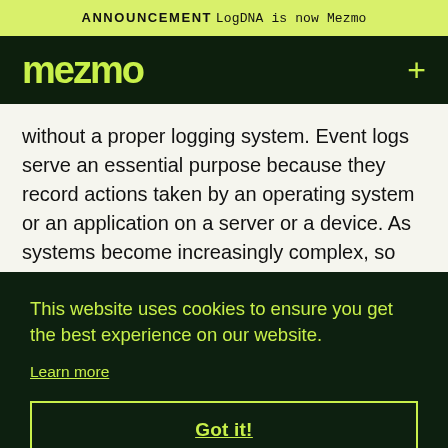ANNOUNCEMENT LogDNA is now Mezmo
[Figure (logo): Mezmo logo in lime green on dark green navigation bar with a plus sign on the right]
without a proper logging system. Event logs serve an essential purpose because they record actions taken by an operating system or an application on a server or a device. As systems become increasingly complex, so does the troubleshooting required to fix problems.
This website uses cookies to ensure you get the best experience on our website.
Learn more
Got it!
What Exactly Are Event Logs?